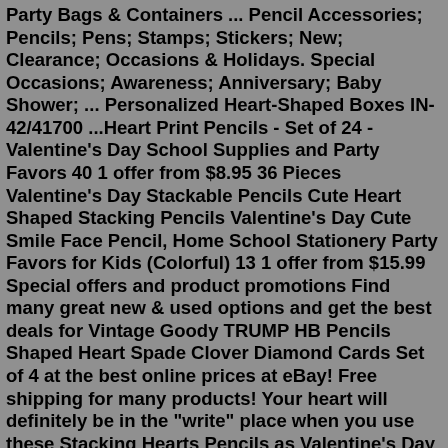Party Bags & Containers ... Pencil Accessories; Pencils; Pens; Stamps; Stickers; New; Clearance; Occasions & Holidays. Special Occasions; Awareness; Anniversary; Baby Shower; ... Personalized Heart-Shaped Boxes IN-42/41700 ...Heart Print Pencils - Set of 24 - Valentine's Day School Supplies and Party Favors 40 1 offer from $8.95 36 Pieces Valentine's Day Stackable Pencils Cute Heart Shaped Stacking Pencils Valentine's Day Cute Smile Face Pencil, Home School Stationery Party Favors for Kids (Colorful) 13 1 offer from $15.99 Special offers and product promotions Find many great new & used options and get the best deals for Vintage Goody TRUMP HB Pencils Shaped Heart Spade Clover Diamond Cards Set of 4 at the best online prices at eBay! Free shipping for many products! Your heart will definitely be in the "write" place when you use these Stacking Hearts Pencils as Valentine's Day giveaways! Perfect for classroom exchanges, these pencils come with red and pink hearts that each have a pencil tip. When one tip runs low, move it to the back and start from the